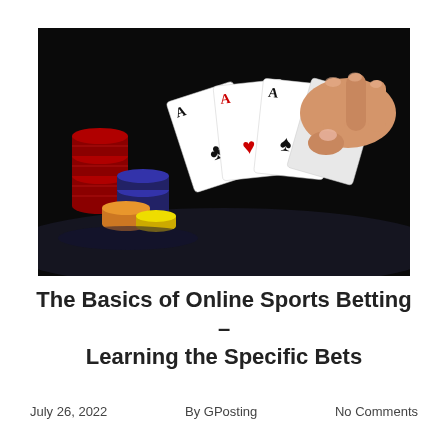[Figure (photo): A hand holding four Ace playing cards fanned out against a dark background, with colorful poker chips (red, maroon, blue, orange, yellow) stacked on the left side on a dark surface.]
The Basics of Online Sports Betting – Learning the Specific Bets
July 26, 2022   By GPosting   No Comments